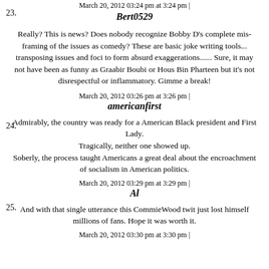March 20, 2012 03:24 pm at 3:24 pm |
23.
Bert0529
Really? This is news? Does nobody recognize Bobby D's complete mis-framing of the issues as comedy? These are basic joke writing tools... transposing issues and foci to form absurd exaggerations...... Sure, it may not have been as funny as Graabir Boubi or Hous Bin Pharteen but it's not disrespectful or inflammatory. Gimme a break!
March 20, 2012 03:26 pm at 3:26 pm |
24.
americanfirst
Admirably, the country was ready for a American Black president and First Lady.
Tragically, neither one showed up.
Soberly, the process taught Americans a great deal about the encroachment of socialism in American politics.
March 20, 2012 03:29 pm at 3:29 pm |
25.
Al
And with that single utterance this CommieWood twit just lost himself millions of fans. Hope it was worth it.
March 20, 2012 03:30 pm at 3:30 pm |